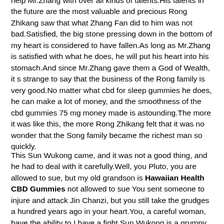help Mr.Zhang with over all kinds of talents.His talents in the future are the most valuable and precious Rong Zhikang saw that what Zhang Fan did to him was not bad.Satisfied, the big stone pressing down in the bottom of my heart is considered to have fallen.As long as Mr.Zhang is satisfied with what he does, he will put his heart into his stomach.And since Mr.Zhang gave them a God of Wealth, it s strange to say that the business of the Rong family is very good.No matter what cbd for sleep gummies he does, he can make a lot of money, and the smoothness of the cbd gummies 75 mg money made is astounding.The more it was like this, the more Rong Zhikang felt that it was no wonder that the Song family became the richest man so quickly.
This Sun Wukong came, and it was not a good thing, and he had to deal with it carefully.Well, you Pluto, you are allowed to sue, but my old grandson is Hawaiian Health CBD Gummies not allowed to sue You sent someone to injure and attack Jin Chanzi, but you still take the grudges a hundred years ago in your heart.You, a careful woman, have the ability to I have a fight Sun Wukong is a grumpy, straight forward.Now it has been determined that the one who